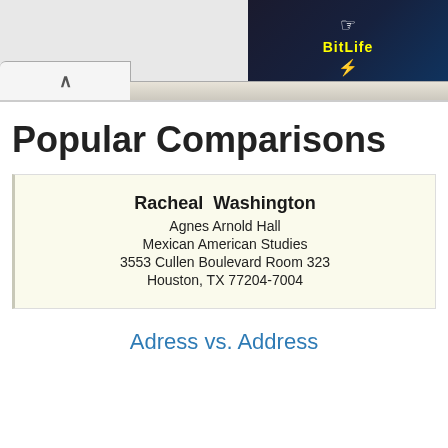[Figure (screenshot): BitLife advertisement banner with 'NOW WITH GOD MODE' text on dark background]
Popular Comparisons
Racheal  Washington
Agnes Arnold Hall
Mexican American Studies
3553 Cullen Boulevard Room 323
Houston, TX 77204-7004
Adress vs. Address